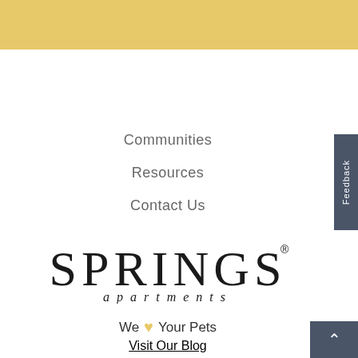[Figure (other): Gold/yellow banner at top of page with partial cursive text visible]
Communities
Resources
Contact Us
[Figure (logo): Springs Apartments logo with stylized large serif text SPRINGS and italic lowercase 'apartments' beneath]
We ♥ Your Pets
Visit Our Blog